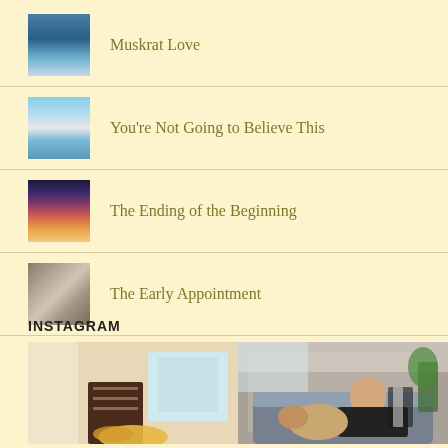Muskrat Love
You're Not Going to Believe This
The Ending of the Beginning
The Early Appointment
INSTAGRAM
[Figure (photo): Two Instagram photos: left shows an interior scene with a chair and flowers; right shows a woman with sunglasses on a couch with a dog.]